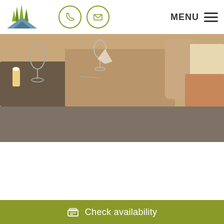[Figure (logo): Green stylized mountain/grass logo with blue mountain base]
[Figure (infographic): Phone icon in olive circle and envelope icon in olive circle]
MENU ≡
[Figure (photo): Restaurant interior with set tables, wine glasses, brown tablecloths, and wooden chairs]
[Figure (other): Grey-brown banner section]
We use cookies to personalize content and ads of our website, to bring you social media functions, and to analyze the traffic to our website. We also share the collected data with our partners, who in turn may use it for social media, advertisement and analysis. More information
Check availability